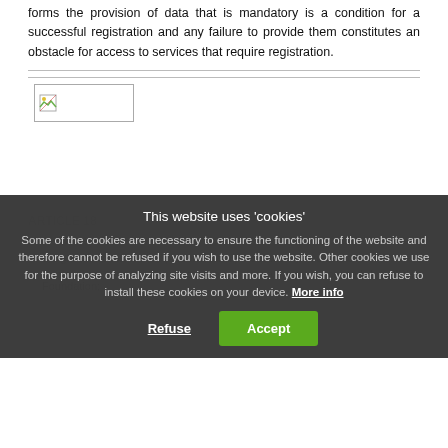forms the provision of data that is mandatory is a condition for a successful registration and any failure to provide them constitutes an obstacle for access to services that require registration.
[Figure (illustration): Small broken/placeholder image icon in a bordered box]
OBLIGATIONS OF THE USER
ARTICLE 18
This website uses 'cookies'
Some of the cookies are necessary to ensure the functioning of the website and therefore cannot be refused if you wish to use the website. Other cookies we use for the purpose of analyzing site visits and more. If you wish, you can refuse to install these cookies on your device. More info
1. right to access to their personal data processed by Foundation;
2. right to correct or update their personal data processed by LIBRe Foundation;